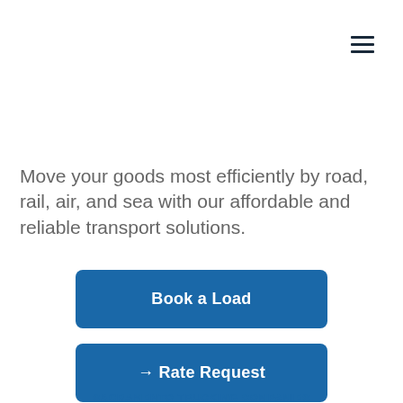[Figure (other): Hamburger menu icon (three horizontal lines) in top-right corner]
Move your goods most efficiently by road, rail, air, and sea with our affordable and reliable transport solutions.
Book a Load
→ Rate Request
SACRAMENTO TRUCKING COMPANIES